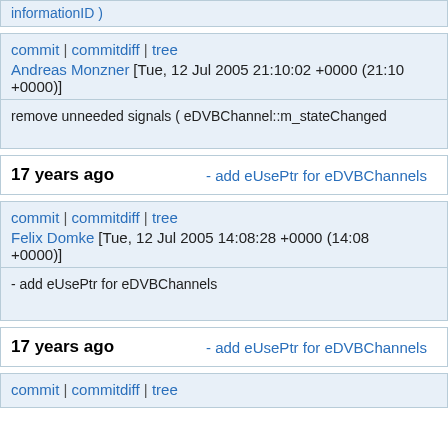informationID )
commit | commitdiff | tree
Andreas Monzner [Tue, 12 Jul 2005 21:10:02 +0000 (21:10 +0000)]
remove unneeded signals ( eDVBChannel::m_stateChanged
17 years ago - add eUsePtr for eDVBChannels
commit | commitdiff | tree
Felix Domke [Tue, 12 Jul 2005 14:08:28 +0000 (14:08 +0000)]
- add eUsePtr for eDVBChannels
17 years ago - add eUsePtr for eDVBChannels
commit | commitdiff | tree